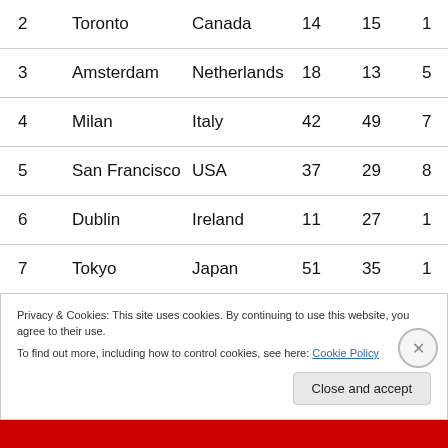| # | City | Country | Col4 | Col5 | Col6 |
| --- | --- | --- | --- | --- | --- |
| 2 | Toronto | Canada | 14 | 15 | 1 |
| 3 | Amsterdam | Netherlands | 18 | 13 | 5 |
| 4 | Milan | Italy | 42 | 49 | 7 |
| 5 | San Francisco | USA | 37 | 29 | 8 |
| 6 | Dublin | Ireland | 11 | 27 | 1 |
| 7 | Tokyo | Japan | 51 | 35 | 1 |
Privacy & Cookies: This site uses cookies. By continuing to use this website, you agree to their use. To find out more, including how to control cookies, see here: Cookie Policy